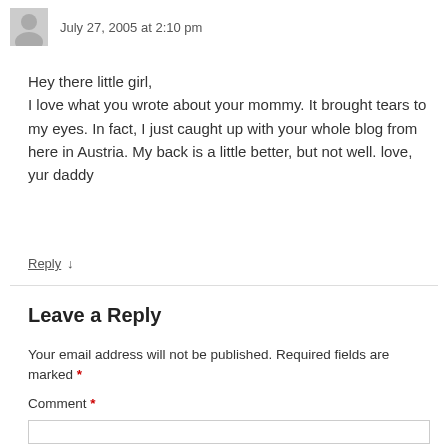July 27, 2005 at 2:10 pm
Hey there little girl,
I love what you wrote about your mommy. It brought tears to my eyes. In fact, I just caught up with your whole blog from here in Austria. My back is a little better, but not well. love, yur daddy
Reply ↓
Leave a Reply
Your email address will not be published. Required fields are marked *
Comment *